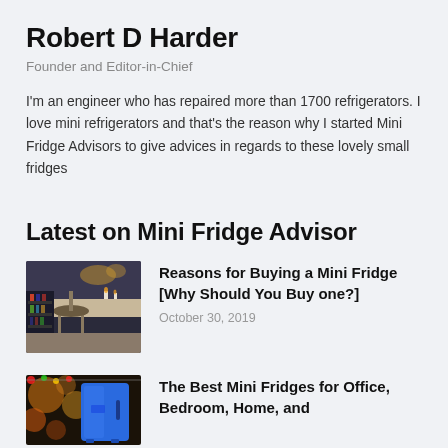Robert D Harder
Founder and Editor-in-Chief
I'm an engineer who has repaired more than 1700 refrigerators. I love mini refrigerators and that's the reason why I started Mini Fridge Advisors to give advices in regards to these lovely small fridges
Latest on Mini Fridge Advisor
[Figure (photo): Kitchen scene with a bar stool, counter, and mini fridge with beverages visible]
Reasons for Buying a Mini Fridge [Why Should You Buy one?]
October 30, 2019
[Figure (photo): Christmas/holiday scene with a blue mini fridge]
The Best Mini Fridges for Office, Bedroom, Home, and